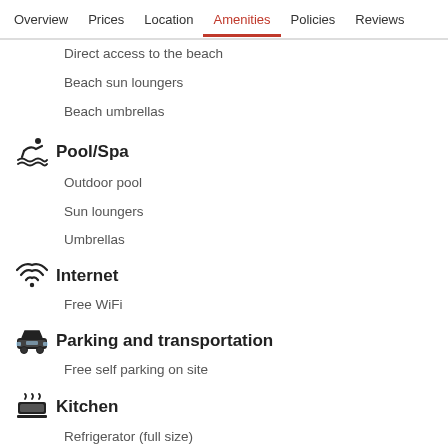Overview  Prices  Location  Amenities  Policies  Reviews
Direct access to the beach
Beach sun loungers
Beach umbrellas
Pool/Spa
Outdoor pool
Sun loungers
Umbrellas
Internet
Free WiFi
Parking and transportation
Free self parking on site
Kitchen
Refrigerator (full size)